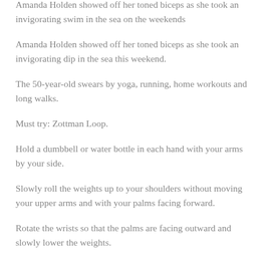Amanda Holden showed off her toned biceps as she took an invigorating swim in the sea on the weekends
Amanda Holden showed off her toned biceps as she took an invigorating dip in the sea this weekend.
The 50-year-old swears by yoga, running, home workouts and long walks.
Must try: Zottman Loop.
Hold a dumbbell or water bottle in each hand with your arms by your side.
Slowly roll the weights up to your shoulders without moving your upper arms and with your palms facing forward.
Rotate the wrists so that the palms are facing outward and slowly lower the weights.